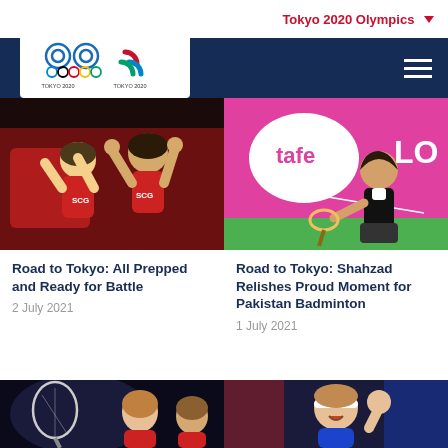Tokyo 2020 Olympics
[Figure (photo): Two badminton players in red SCG jerseys celebrating with arms raised]
[Figure (photo): Female badminton player playing a shot in front of a pink Tafel/Lo advertisement board]
Road to Tokyo: All Prepped and Ready for Battle
2 July 2021
Road to Tokyo: Shahzad Relishes Proud Moment for Pakistan Badminton
1 July 2021
[Figure (photo): Two badminton players in red uniforms with a badminton racket visible]
[Figure (photo): Male badminton player celebrating with fist raised, wearing a white headband]